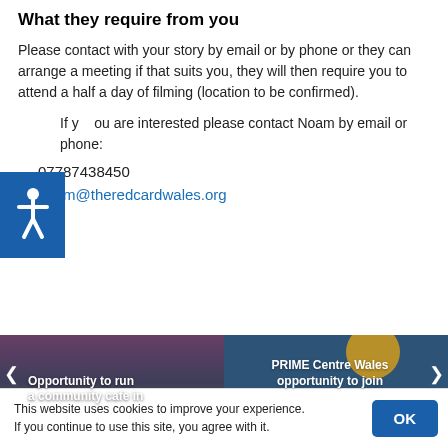What they require from you
Please contact with your story by email or by phone or they can arrange a meeting if that suits you, they will then require you to attend a half a day of filming (location to be confirmed).
If you are interested please contact Noam by email or phone:
07787438450
noam@theredcardwales.org
[Figure (screenshot): Carousel showing two article previews: 'Opportunity to run a community cafe in' and 'PRIME Centre Wales opportunity to join']
This website uses cookies to improve your experience. If you continue to use this site, you agree with it.